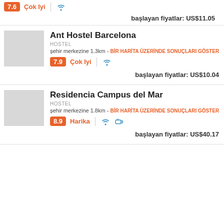7.6 Çok Iyi | wifi icon
başlayan fiyatlar: US$11.05
Ant Hostel Barcelona
HOSTEL
şehir merkezine 1.3km - BİR HARİTA ÜZERİNDE SONUÇLARI GÖSTER
7.9 Çok Iyi | wifi icon
başlayan fiyatlar: US$10.04
Residencia Campus del Mar
HOSTEL
şehir merkezine 1.8km - BİR HARİTA ÜZERİNDE SONUÇLARI GÖSTER
8.9 Harika | wifi icon | coffee icon
başlayan fiyatlar: US$40.17